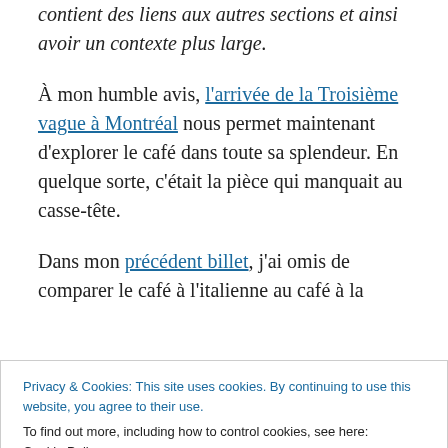contient des liens aux autres sections et ainsi avoir un contexte plus large.
À mon humble avis, l'arrivée de la Troisième vague à Montréal nous permet maintenant d'explorer le café dans toute sa splendeur. En quelque sorte, c'était la pièce qui manquait au casse-tête.
Dans mon précédent billet, j'ai omis de comparer le café à l'italienne au café à la
Privacy & Cookies: This site uses cookies. By continuing to use this website, you agree to their use.
To find out more, including how to control cookies, see here: Cookie Policy
Close and accept